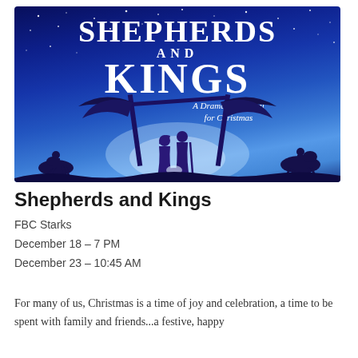[Figure (illustration): Promotional poster for 'Shepherds and Kings: A Dramatic Musical for Christmas'. Deep blue starry night background with nativity scene silhouettes including a manger, Mary and Joseph, wise men with camels, and a bright glowing light at center.]
Shepherds and Kings
FBC Starks
December 18 – 7 PM
December 23 – 10:45 AM
For many of us, Christmas is a time of joy and celebration, a time to be spent with family and friends...a festive, happy